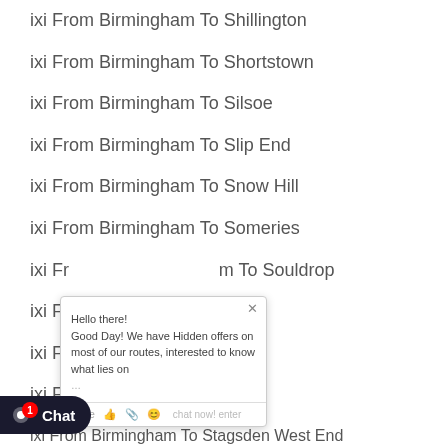ixi From Birmingham To Shillington
ixi From Birmingham To Shortstown
ixi From Birmingham To Silsoe
ixi From Birmingham To Slip End
ixi From Birmingham To Snow Hill
ixi From Birmingham To Someries
ixi From Birmingham To Souldrop
ixi From Birmingham To South End
ixi From Birmingham To Southill
ixi From Birmingham To Speedwell
ixi From Birmingham To Stagsden West End
[Figure (screenshot): Chat popup overlay with message: Hello there! Good Day! We have Hidden offers on most of our routes, interested to know what lies on... with Type input bar and emoji/attachment icons at bottom.]
[Figure (screenshot): Chat button in bottom left corner with speech bubble icon and 'Chat' label, with red badge showing notification count 1.]